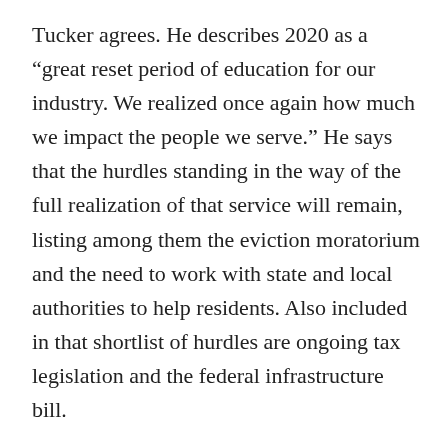Tucker agrees. He describes 2020 as a “great reset period of education for our industry. We realized once again how much we impact the people we serve.” He says that the hurdles standing in the way of the full realization of that service will remain, listing among them the eviction moratorium and the need to work with state and local authorities to help residents. Also included in that shortlist of hurdles are ongoing tax legislation and the federal infrastructure bill.
He also agrees that the wants and needs of residents have changed, and puzzling out what new expectations will remain or disappear will be an ongoing challenge. “We’ve seen a lot of changes in our